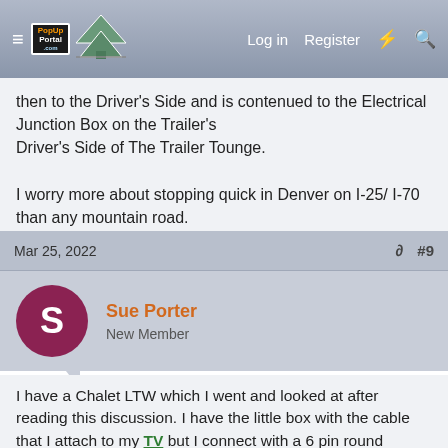PopUpPortal.com — Log in  Register
then to the Driver's Side and is contenued to the Electrical Junction Box on the Trailer's
Driver's Side of The Trailer Tounge.

I worry more about stopping quick in Denver on I-25/ I-70 than any mountain road.
Mar 25, 2022  #9
Sue Porter
New Member
I have a Chalet LTW which I went and looked at after reading this discussion. I have the little box with the cable that I attach to my TV but I connect with a 6 pin round connector not a 7 so my brakes aren't connected. Do I need to change this out for the breakaway cable to work?